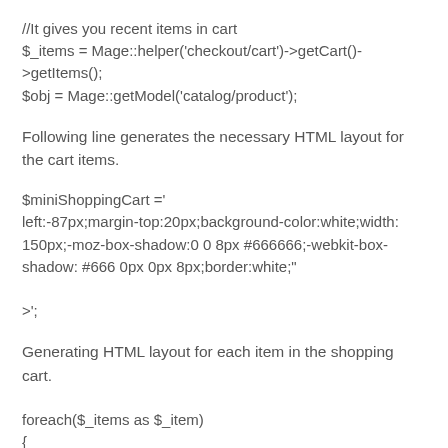//It gives you recent items in cart
$_items = Mage::helper('checkout/cart')->getCart()->getItems();
$obj = Mage::getModel('catalog/product');
Following line generates the necessary HTML layout for the cart items.
$miniShoppingCart ='
left:-87px;margin-top:20px;background-color:white;width:150px;-moz-box-shadow:0 0 8px #666666;-webkit-box-shadow: #666 0px 0px 8px;border:white;"
onmouseover="show_product();"
onmouseout="hide_product();" >';
Generating HTML layout for each item in the shopping cart.
foreach($_items as $_item)
{
$_product = $obj->load($_item->getProductId());
 if($_product->getTypeId() !="simple")